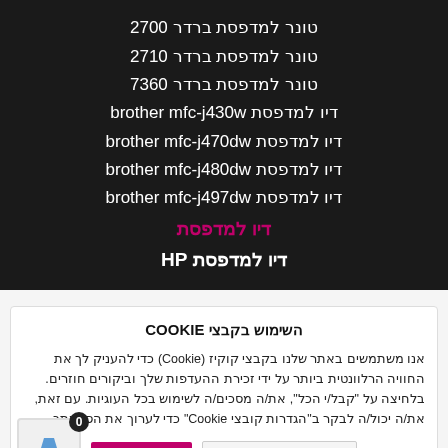טונר למדפסת ברדר 2700
טונר למדפסת ברדר 2710
טונר למדפסת ברדר 7360
דיו למדפסת brother mfc-j430w
דיו למדפסת brother mfc-j470dw
דיו למדפסת brother mfc-j480dw
דיו למדפסת brother mfc-j497dw
דיו למדפסת
דיו למדפסת HP
השימוש בקבצי COOKIE
אנו משתמשים באתר שלנו בקבצי קוקיז (Cookie) כדי להעניק לך את החוויה הרלוונטית ביותר על ידי זכירת ההעדפות שלך וביקורים חוזרים. בלחיצה על "קבל/י הכל", את/ה מסכים/ה לשימוש בכל העוגיות. עם זאת, את/ה יכול/ה לבקר ב"הגדרות קובצי Cookie" כדי לערוך את הסכמתך.
הגדרות קבצי Cookie | קבל/י הכל